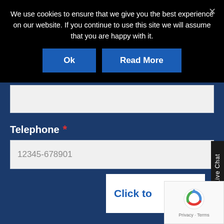We use cookies to ensure that we give you the best experience on our website. If you continue to use this site we will assume that you are happy with it.
[Figure (screenshot): Cookie consent banner with Ok and Read More buttons on black background. Below is a dark blue web form with a blank input field, a Telephone label with required asterisk, a phone number placeholder field showing 12345-678901, a Live Chat tab on the right side, a partially visible Click to join button, and a reCAPTCHA widget.]